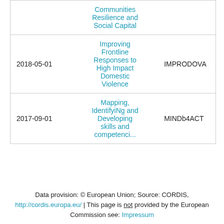| Date | Project Title | Acronym |
| --- | --- | --- |
|  | Communities Resilience and Social Capital |  |
| 2018-05-01 | Improving Frontline Responses to High Impact Domestic Violence | IMPRODOVA |
| 2017-09-01 | Mapping, IdentifyiNg and Developing skills and competencies... | MINDb4ACT |
Data provision: © European Union; Source: CORDIS, http://cordis.europa.eu/ | This page is not provided by the European Commission see: Impressum